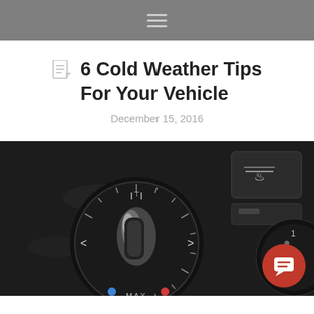6 Cold Weather Tips For Your Vehicle
December 15, 2016
[Figure (photo): Close-up photo of a car HVAC temperature control knob (dial) showing MAX position label, blue and red indicator dots, and partial view of a fan speed knob. A defroster button is visible in the upper right. A red circular chat widget icon is overlaid in the bottom right corner.]